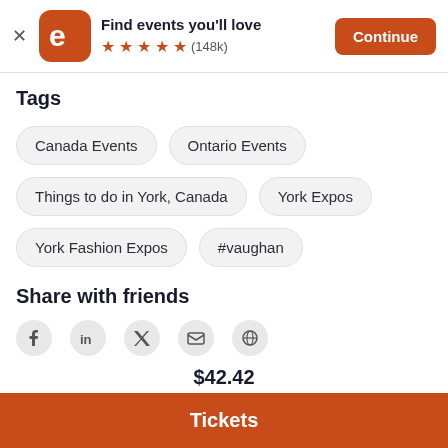[Figure (logo): Eventbrite app banner with logo, 5-star rating (148k reviews), and Continue button]
Tags
Canada Events
Ontario Events
Things to do in York, Canada
York Expos
York Fashion Expos
#vaughan
Share with friends
[Figure (infographic): Social sharing icons: Facebook, LinkedIn, Twitter/X, Email, Link]
$42.42
Tickets